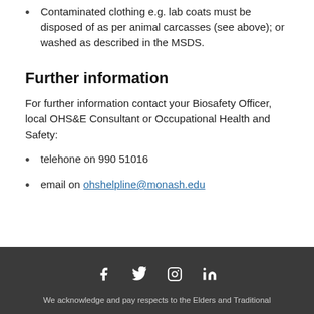Contaminated clothing e.g. lab coats must be disposed of as per animal carcasses (see above); or washed as described in the MSDS.
Further information
For further information contact your Biosafety Officer, local OHS&E Consultant or Occupational Health and Safety:
telehone on 990 51016
email on ohshelpline@monash.edu
We acknowledge and pay respects to the Elders and Traditional